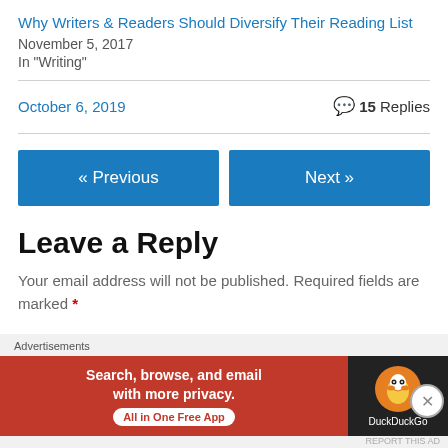Why Writers & Readers Should Diversify Their Reading List
November 5, 2017
In "Writing"
October 6, 2019   💬 15 Replies
« Previous
Next »
Leave a Reply
Your email address will not be published. Required fields are marked *
[Figure (other): DuckDuckGo advertisement banner: Search, browse, and email with more privacy. All in One Free App.]